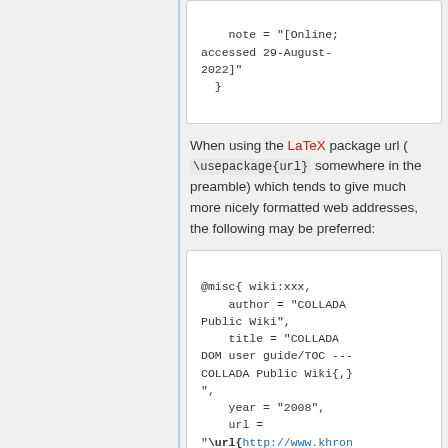note = "[Online; accessed 29-August-2022]"
  }
When using the LaTeX package url ( \usepackage{url} somewhere in the preamble) which tends to give much more nicely formatted web addresses, the following may be preferred:
@misc{ wiki:xxx,
    author = "COLLADA Public Wiki",
    title = "COLLADA DOM user guide/TOC --- COLLADA Public Wiki{,}",
    year = "2008",
    url = "\url{http://www.khron